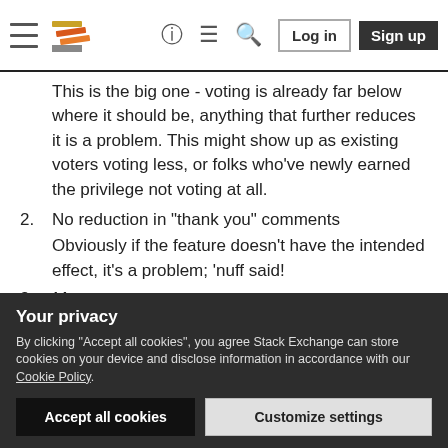Stack Exchange navigation bar with hamburger menu, logo, help, chat, search icons, Log in and Sign up buttons
This is the big one - voting is already far below where it should be, anything that further reduces it is a problem. This might show up as existing voters voting less, or folks who've newly earned the privilege not voting at all.
2. No reduction in "thank you" comments
Obviously if the feature doesn't have the intended effect, it's a problem; 'nuff said!
3. More comments
Any time you put a visible number somewhere
Your privacy
By clicking "Accept all cookies", you agree Stack Exchange can store cookies on your device and disclose information in accordance with our Cookie Policy.
Accept all cookies
Customize settings
complaining about them. There don't need to be